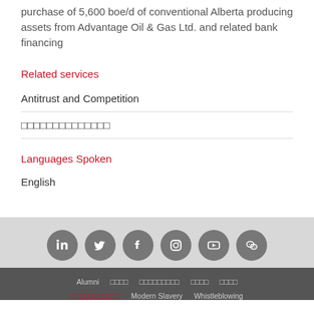purchase of 5,600 boe/d of conventional Alberta producing assets from Advantage Oil & Gas Ltd. and related bank financing
Related services
Antitrust and Competition
□□□□□□□□□□□□□□
Languages Spoken
English
[Figure (infographic): Row of six circular social media icons: LinkedIn, Twitter, Facebook, Instagram, YouTube, WeChat on a light grey background]
Alumni  □□□□  □□□□□□□□□  □□□□  □□□□  □□□□□□□□□□□  Modern Slavery  Whistleblowing